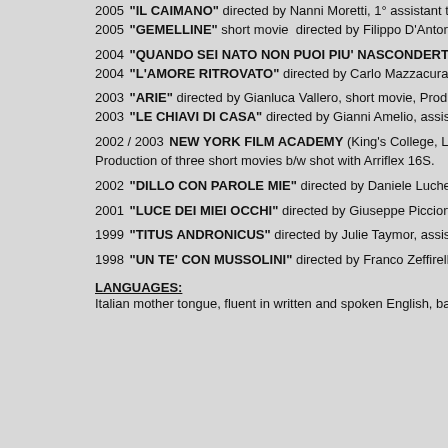2005 "IL CAIMANO" directed by Nanni Moretti, 1° assistant to pr
2005 "GEMELLINE" short movie  directed by Filippo D'Antoni, P
2004 "QUANDO SEI NATO NON PUOI PIU' NASCONDERTI" dire
2004 "L'AMORE RITROVATO" directed by Carlo Mazzacurati, ass
2003 "ARIE" directed by Gianluca Vallero, short movie, Producti
2003 "LE CHIAVI DI CASA" directed by Gianni Amelio, assistant
2002 / 2003 NEW YORK FILM ACADEMY (King's College, Londo
Production of three short movies b/w shot with Arriflex 16S.
2002 "DILLO CON PAROLE MIE" directed by Daniele Luchetti,as
2001 "LUCE DEI MIEI OCCHI" directed by Giuseppe Piccioni, a
1999 "TITUS ANDRONICUS" directed by Julie Taymor, assistant
1998 "UN TE' CON MUSSOLINI" directed by Franco Zeffirelli, as
LANGUAGES:
Italian mother tongue, fluent in written and spoken English, basi